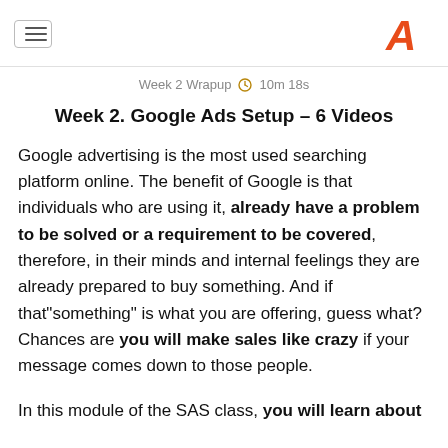Week 2 Wrapup  10m 18s
Week 2. Google Ads Setup – 6 Videos
Google advertising is the most used searching platform online. The benefit of Google is that individuals who are using it, already have a problem to be solved or a requirement to be covered, therefore, in their minds and internal feelings they are already prepared to buy something. And if that"something" is what you are offering, guess what? Chances are you will make sales like crazy if your message comes down to those people.
In this module of the SAS class, you will learn about